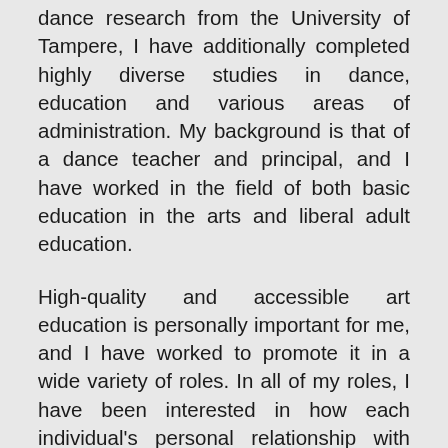dance research from the University of Tampere, I have additionally completed highly diverse studies in dance, education and various areas of administration. My background is that of a dance teacher and principal, and I have worked in the field of both basic education in the arts and liberal adult education.
High-quality and accessible art education is personally important for me, and I have worked to promote it in a wide variety of roles. In all of my roles, I have been interested in how each individual's personal relationship with and understanding of art develops and how this process can be supported. This is why I still teach dance to learners of different ages, in addition to my work as Executive Director. When